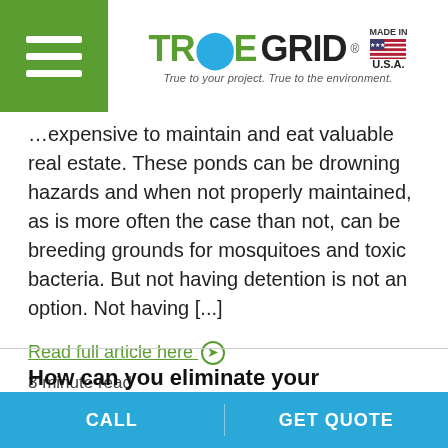[Figure (logo): TrueGrid logo with hamburger menu, green and black logo text with tagline 'True to your project. True to the environment.' and Made in USA flag badge]
…expensive to maintain and eat valuable real estate. These ponds can be drowning hazards and when not properly maintained, as is more often the case than not, can be breeding grounds for mosquitoes and toxic bacteria. But not having detention is not an option. Not having […]
Read full article here ➔
3 minute read
How can you eliminate your detention pond and save money?
CALL    GET QUOTE